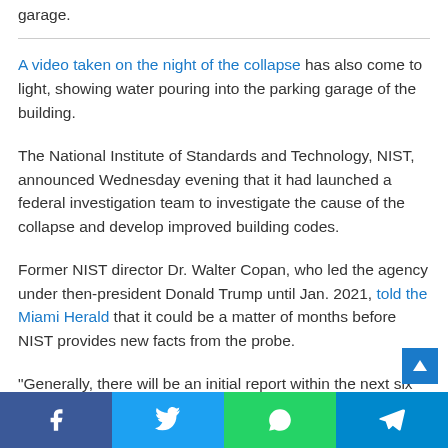garage.
A video taken on the night of the collapse has also come to light, showing water pouring into the parking garage of the building.
The National Institute of Standards and Technology, NIST, announced Wednesday evening that it had launched a federal investigation team to investigate the cause of the collapse and develop improved building codes.
Former NIST director Dr. Walter Copan, who led the agency under then-president Donald Trump until Jan. 2021, told the Miami Herald that it could be a matter of months before NIST provides new facts from the probe.
"Generally, there will be an initial report within the next six..." (truncated)
f  t  WhatsApp  Telegram